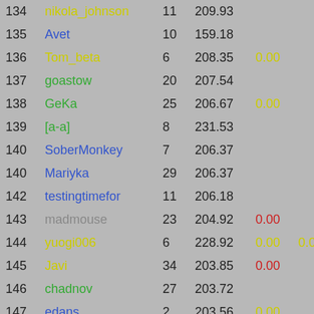| Rank | Name | Num | Score | Val1 | Val2 | Adj | Final |
| --- | --- | --- | --- | --- | --- | --- | --- |
| 134 | nikola_johnson | 11 | 209.93 |  |  |  | 209.9 |
| 135 | Avet | 10 | 159.18 |  |  | +50 | 209.1 |
| 136 | Tom_beta | 6 | 208.35 | 0.00 |  |  | 208.3 |
| 137 | goastow | 20 | 207.54 |  |  |  | 207.5 |
| 138 | GeKa | 25 | 206.67 | 0.00 |  |  | 206.6 |
| 139 | [a-a] | 8 | 231.53 |  |  | -25 | 206.5 |
| 140 | SoberMonkey | 7 | 206.37 |  |  |  | 206.3 |
| 140 | Mariyka | 29 | 206.37 |  |  |  | 206.3 |
| 142 | testingtimefor | 11 | 206.18 |  |  |  | 206.1 |
| 143 | madmouse | 23 | 204.92 | 0.00 |  |  | 204.9 |
| 144 | yuogi006 | 6 | 228.92 | 0.00 | 0.00 | -25 | 203.9 |
| 145 | Javi | 34 | 203.85 | 0.00 |  |  | 203.8 |
| 146 | chadnov | 27 | 203.72 |  |  |  | 203.7 |
| 147 | edans | 2 | 203.56 | 0.00 |  |  | 203.5 |
| 148 | asha_r | 21 | 203.39 |  | 0.00 |  | 203.3 |